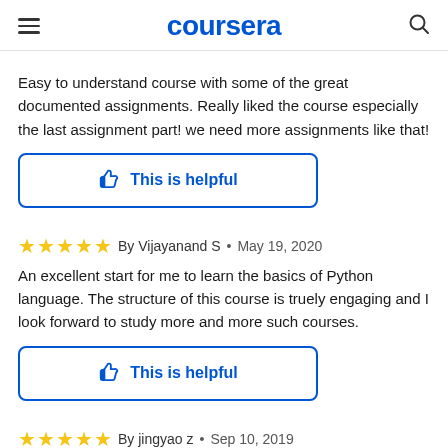coursera
Easy to understand course with some of the great documented assignments. Really liked the course especially the last assignment part! we need more assignments like that!
This is helpful
By Vijayanand S • May 19, 2020
An excellent start for me to learn the basics of Python language. The structure of this course is truely engaging and I look forward to study more and more such courses.
This is helpful
By jingyao z • Sep 10, 2019